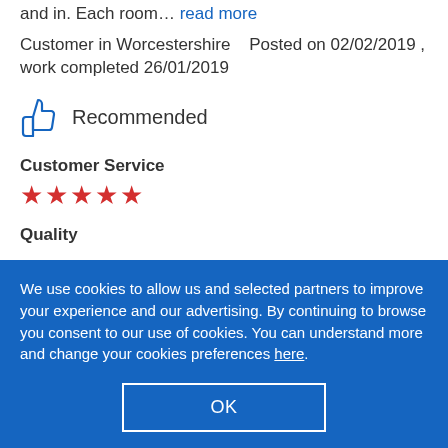and in. Each room… read more
Customer in Worcestershire    Posted on 02/02/2019 , work completed 26/01/2019
Recommended
Customer Service
[Figure (other): Five red stars rating]
Quality
We use cookies to allow us and selected partners to improve your experience and our advertising. By continuing to browse you consent to our use of cookies. You can understand more and change your cookies preferences here.
OK